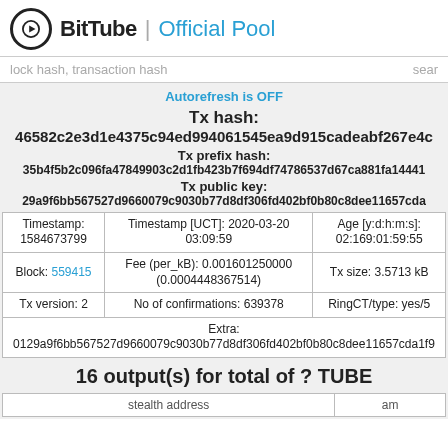BitTube | Official Pool
lock hash, transaction hash    sear
Autorefresh is OFF
Tx hash:
46582c2e3d1e4375c94ed994061545ea9d915cadeabf267e4c
Tx prefix hash:
35b4f5b2c096fa47849903c2d1fb423b7f694df74786537d67ca881fa14441
Tx public key:
29a9f6bb567527d9660079c9030b77d8df306fd402bf0b80c8dee11657cda
| Timestamp | Timestamp [UCT] | Age [y:d:h:m:s] |
| --- | --- | --- |
| Timestamp:
1584673799 | Timestamp [UCT]: 2020-03-20
03:09:59 | Age [y:d:h:m:s]:
02:169:01:59:55 |
| Block: 559415 | Fee (per_kB): 0.001601250000
(0.0004448367514) | Tx size: 3.5713 kB |
| Tx version: 2 | No of confirmations: 639378 | RingCT/type: yes/5 |
| Extra:
0129a9f6bb567527d9660079c9030b77d8df306fd402bf0b80c8dee11657cda1f9 |  |  |
16 output(s) for total of ? TUBE
| stealth address | am |
| --- | --- |